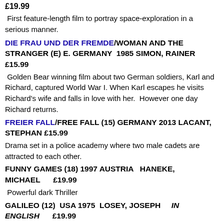£19.99
First feature-length film to portray space-exploration in a serious manner.
DIE FRAU UND DER FREMDE/WOMAN AND THE STRANGER (E) E. GERMANY 1985 SIMON, RAINER £15.99
Golden Bear winning film about two German soldiers, Karl and Richard, captured World War I. When Karl escapes he visits Richard's wife and falls in love with her. However one day Richard returns.
FREIER FALL/FREE FALL (15) GERMANY 2013 LACANT, STEPHAN £15.99
Drama set in a police academy where two male cadets are attracted to each other.
FUNNY GAMES (18) 1997 AUSTRIA HANEKE, MICHAEL £19.99
Powerful dark Thriller
GALILEO (12) USA 1975 LOSEY, JOSEPH IN ENGLISH £19.99
American Film The stage adaptation of Brecht's Brecht the...